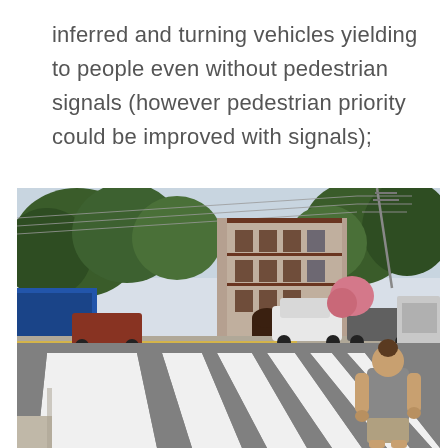inferred and turning vehicles yielding to people even without pedestrian signals (however pedestrian priority could be improved with signals);
[Figure (photo): Street-level photo of an urban intersection showing a pedestrian crosswalk with zebra stripes in the foreground. A person in a gray t-shirt stands at the edge of the crosswalk facing the street. Across the intersection there are trees, a multi-story brick building, parked cars including a white sedan, utility poles with power lines, and a delivery truck in the background. The scene appears to be a sunny day in a city neighborhood.]